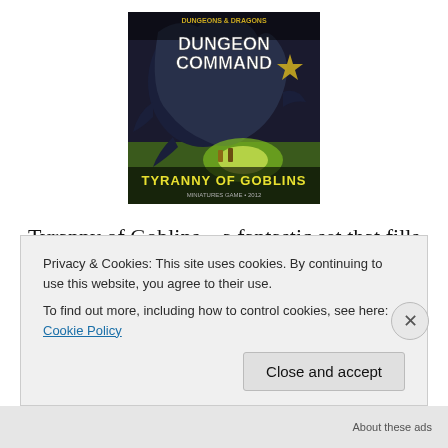[Figure (illustration): Product box art for 'Dungeon Command: Tyranny of Goblins' showing a large dark creature (troll or dragon) looming over a battlefield scene with goblins, with stylized fantasy text branding at top and bottom.]
Tyranny of Goblins – a fantastic set that fills needs in most campaigns. Goblins and their kin are common at most D&D tables, and you can always use another wolf. The troll is magnificent, but the horned devil is the superstar, and could be used to represent all manner of nasty
Privacy & Cookies: This site uses cookies. By continuing to use this website, you agree to their use.
To find out more, including how to control cookies, see here: Cookie Policy